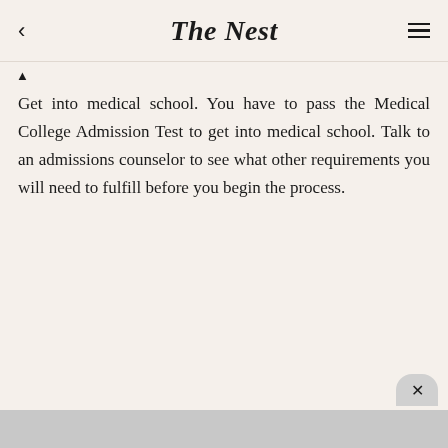The Nest
Get into medical school. You have to pass the Medical College Admission Test to get into medical school. Talk to an admissions counselor to see what other requirements you will need to fulfill before you begin the process.